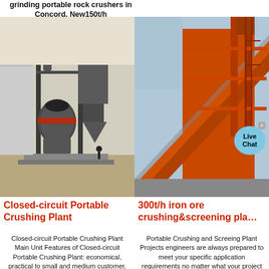grinding portable rock crushers in Concord, New150t/h
[Figure (photo): Industrial closed-circuit portable crushing plant with large cylindrical mill, pipes, and dust collectors at an outdoor construction site]
[Figure (photo): 300t/h iron ore crushing and screening plant showing orange conveyor structure and equipment]
Closed-circuit Portable Crushing Plant
300t/h iron ore crushing&screening pla…
Closed-circuit Portable Crushing Plant Main Unit Features of Closed-circuit Portable Crushing Plant: economical, practical to small and medium customer, incorporated
Portable Crushing and Screeing Plant Projects engineers are always prepared to meet your specific application requirements no matter what your project is, aggregate